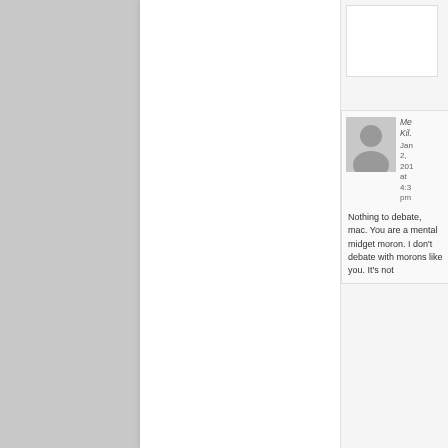[Figure (photo): User avatar placeholder showing a generic person silhouette in grey]
Me Kil.
Jan 2, 201 at 4:3 pm
Nothing to debate, mac. You are a mental midget moron. I don't debate with morons like you. It's not